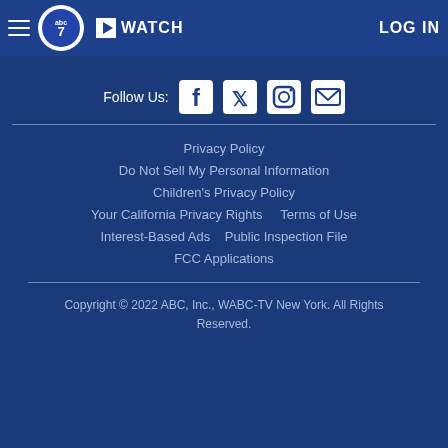WATCH  LOG IN
Follow Us:
Privacy Policy
Do Not Sell My Personal Information
Children's Privacy Policy
Your California Privacy Rights    Terms of Use
Interest-Based Ads    Public Inspection File
FCC Applications
Copyright © 2022 ABC, Inc., WABC-TV New York. All Rights Reserved.